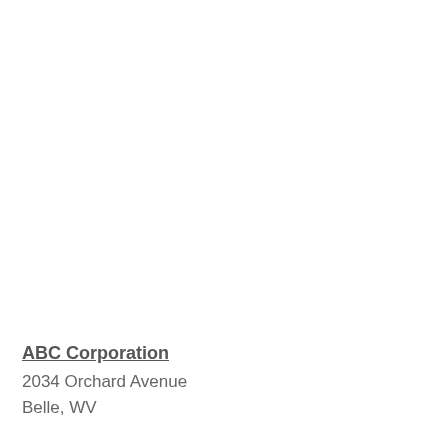ABC Corporation
2034 Orchard Avenue
Belle, WV